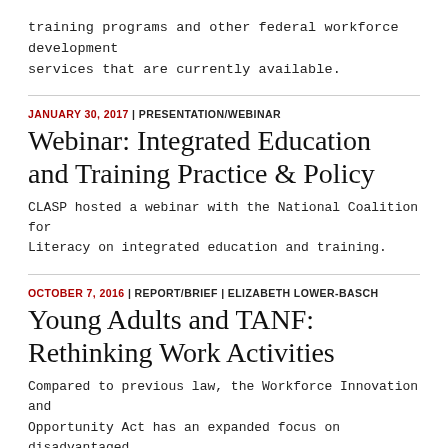training programs and other federal workforce development services that are currently available.
JANUARY 30, 2017 | PRESENTATION/WEBINAR
Webinar: Integrated Education and Training Practice & Policy
CLASP hosted a webinar with the National Coalition for Literacy on integrated education and training.
OCTOBER 7, 2016 | REPORT/BRIEF | ELIZABETH LOWER-BASCH
Young Adults and TANF: Rethinking Work Activities
Compared to previous law, the Workforce Innovation and Opportunity Act has an expanded focus on disadvantaged young adults and supports closer partnerships between TANF